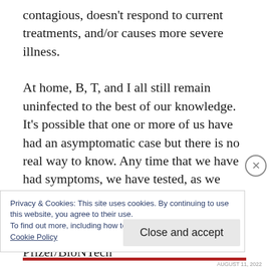contagious, doesn't respond to current treatments, and/or causes more severe illness.

At home, B, T, and I all still remain uninfected to the best of our knowledge. It's possible that one or more of us have had an asymptomatic case but there is no real way to know. Any time that we have had symptoms, we have tested, as we have also for travel and after known exposures. We also have had extra tests as part of our participation in the Pfizer/BioNTech
Privacy & Cookies: This site uses cookies. By continuing to use this website, you agree to their use.
To find out more, including how to control cookies, see here:
Cookie Policy
Close and accept